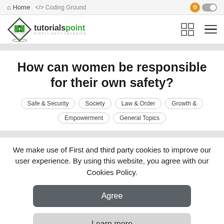Home  </> Coding Ground
[Figure (logo): Tutorialspoint logo with diamond shape and book icon, text 'tutorialspoint SIMPLY EASY LEARNING']
How can women be responsible for their own safety?
Safe & Security
Society
Law & Order
Growth & Empowerment
General Topics
We make use of First and third party cookies to improve our user experience. By using this website, you agree with our Cookies Policy.
Agree
Learn more